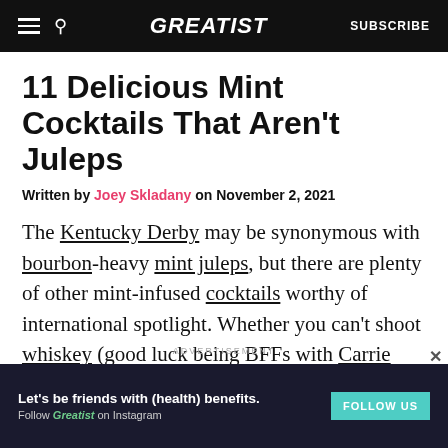GREATIST | SUBSCRIBE
11 Delicious Mint Cocktails That Aren't Juleps
Written by Joey Skladany on November 2, 2021
The Kentucky Derby may be synonymous with bourbon-heavy mint juleps, but there are plenty of other mint-infused cocktails worthy of international spotlight. Whether you can't shoot whiskey (good luck being BFFs with Carrie Underwood) or need to break away from tradition,
ADVERTISEMENT
[Figure (other): Advertisement banner: Let's be friends with (health) benefits. Follow GREATIST on Instagram. FOLLOW US button.]